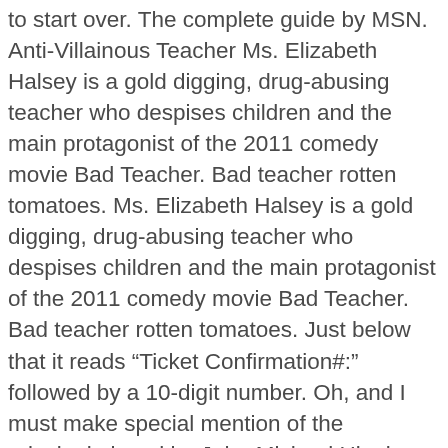to start over. The complete guide by MSN. Anti-Villainous Teacher Ms. Elizabeth Halsey is a gold digging, drug-abusing teacher who despises children and the main protagonist of the 2011 comedy movie Bad Teacher. Bad teacher rotten tomatoes. Ms. Elizabeth Halsey is a gold digging, drug-abusing teacher who despises children and the main protagonist of the 2011 comedy movie Bad Teacher. Bad teacher rotten tomatoes. Just below that it reads "Ticket Confirmation#:" followed by a 10-digit number. Oh, and I must make special mention of the principal,played by John Michael Higgins, what an excellent comedic actor. Funny raunchy comedy about a teacher that doesn't care, Reviewed in the United States on August 17, 2019. Reviewed in the United Kingdom on April 29, 2018. Keep saying shit like that you're gonna get punched. Yet the movie tries to sell this character is an acceptable and fun person. 4K-How to watch Bad Teacher FULL Movie Online Free? Bad teacher lebron argument.